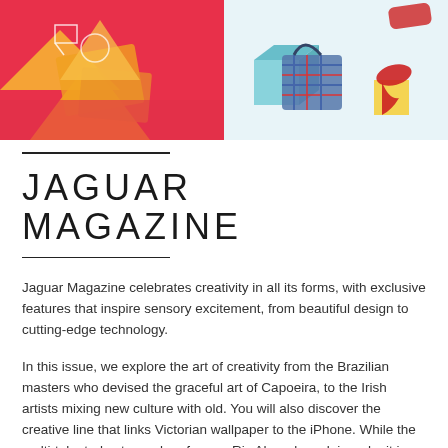[Figure (photo): Two-panel image strip at top: left panel shows colorful geometric shapes in pink/red/orange/yellow tones with artistic arrangement; right panel shows fashion accessories including a plaid handbag, shoes, and colorful cube shapes on light background.]
JAGUAR MAGAZINE
Jaguar Magazine celebrates creativity in all its forms, with exclusive features that inspire sensory excitement, from beautiful design to cutting-edge technology.
In this issue, we explore the art of creativity from the Brazilian masters who devised the graceful art of Capoeira, to the Irish artists mixing new culture with old. You will also discover the creative line that links Victorian wallpaper to the iPhone. While the multi-talented actor and performer, Riz Ahmed, explains why it is the right time to reveal his true self to the world.